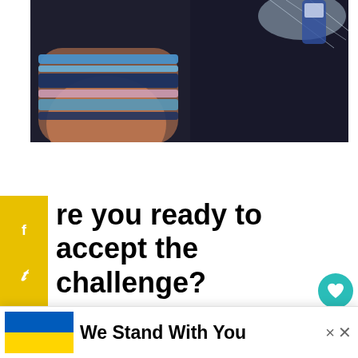[Figure (photo): Partial photo of a person wearing a striped sweater, appearing to hold something. Dark background. Image is cropped at top.]
re you ready to accept the challenge?
Carnation Breakfast Essentials® wants everyone to get into a #BetterBreakfast routine. Complete simple breakfast missions through the end of February for chances to win prizes in the #C...y steps.
[Figure (infographic): WHAT'S NEXT widget showing a thumbnail of pancakes and text: Quick and Cheap Healt...]
[Figure (infographic): Bottom advertisement banner: Ukraine flag (blue and yellow) with text 'We Stand With You'. Two X close buttons visible.]